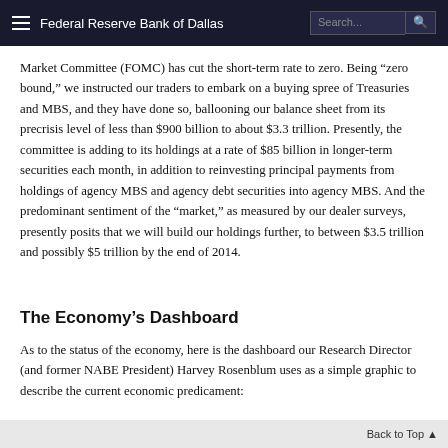Federal Reserve Bank of Dallas
Market Committee (FOMC) has cut the short-term rate to zero. Being “zero bound,” we instructed our traders to embark on a buying spree of Treasuries and MBS, and they have done so, ballooning our balance sheet from its precrisis level of less than $900 billion to about $3.3 trillion. Presently, the committee is adding to its holdings at a rate of $85 billion in longer-term securities each month, in addition to reinvesting principal payments from holdings of agency MBS and agency debt securities into agency MBS. And the predominant sentiment of the “market,” as measured by our dealer surveys, presently posits that we will build our holdings further, to between $3.5 trillion and possibly $5 trillion by the end of 2014.
The Economy’s Dashboard
As to the status of the economy, here is the dashboard our Research Director (and former NABE President) Harvey Rosenblum uses as a simple graphic to describe the current economic predicament: